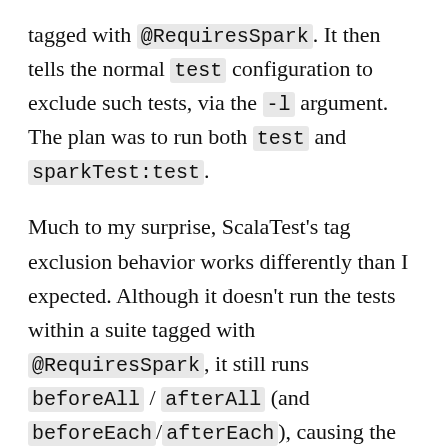tagged with @RequiresSpark. It then tells the normal test configuration to exclude such tests, via the -l argument. The plan was to run both test and sparkTest:test.
Much to my surprise, ScalaTest's tag exclusion behavior works differently than I expected. Although it doesn't run the tests within a suite tagged with @RequiresSpark, it still runs beforeAll / afterAll (and beforeEach/afterEach), causing the SparkContext and HiveContext to start up. That defeats the whole purpose. Epic fail!!!1